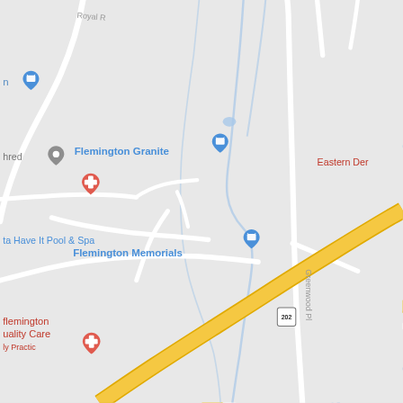[Figure (map): Google Maps screenshot showing area around Flemington, NJ with roads, businesses including Flemington Granite, Flemington Memorials, 'ta Have It Pool & Spa', Eastern Der[matology], Flemington [Q]uality Care [b]y Pra[ctice], Route 202 highway diagonal road, Greenwood Ave road label, Royal Rd label, map pins for various locations]